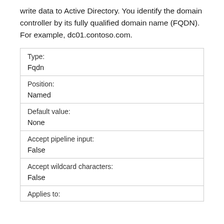write data to Active Directory. You identify the domain controller by its fully qualified domain name (FQDN). For example, dc01.contoso.com.
| Type: | Fqdn |
| Position: | Named |
| Default value: | None |
| Accept pipeline input: | False |
| Accept wildcard characters: | False |
| Applies to: |  |